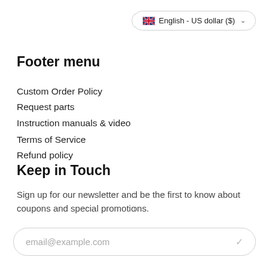🇬🇧 English - US dollar ($) ∨
Footer menu
Custom Order Policy
Request parts
Instruction manuals & video
Terms of Service
Refund policy
Keep in Touch
Sign up for our newsletter and be the first to know about coupons and special promotions.
email@example.com